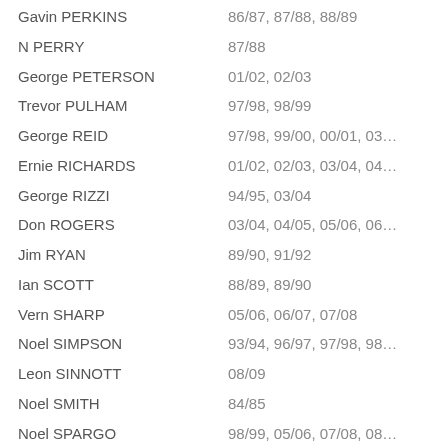Gavin PERKINS | 86/87, 87/88, 88/89
N PERRY | 87/88
George PETERSON | 01/02, 02/03
Trevor PULHAM | 97/98, 98/99
George REID | 97/98, 99/00, 00/01, 03…
Ernie RICHARDS | 01/02, 02/03, 03/04, 04…
George RIZZI | 94/95, 03/04
Don ROGERS | 03/04, 04/05, 05/06, 06…
Jim RYAN | 89/90, 91/92
Ian SCOTT | 88/89, 89/90
Vern SHARP | 05/06, 06/07, 07/08
Noel SIMPSON | 93/94, 96/97, 97/98, 98…
Leon SINNOTT | 08/09
Noel SMITH | 84/85
Noel SPARGO | 98/99, 05/06, 07/08, 08…
Teerse STAL | 10/11
John STEVENSON | 83/84